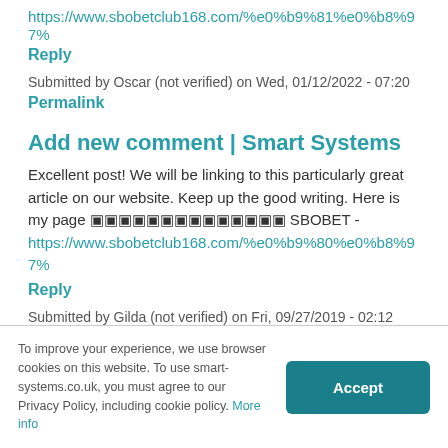https://www.sbobetclub168.com/%e0%b9%81%e0%b8%97%
Reply
Submitted by Oscar (not verified) on Wed, 01/12/2022 - 07:20
Permalink
Add new comment | Smart Systems
Excellent post! We will be linking to this particularly great article on our website. Keep up the good writing. Here is my page ������� SBOBET - https://www.sbobetclub168.com/%e0%b9%80%e0%b8%97%
Reply
Submitted by Gilda (not verified) on Fri, 09/27/2019 - 02:12
Permalink
To improve your experience, we use browser cookies on this website. To use smart-systems.co.uk, you must agree to our Privacy Policy, including cookie policy. More info